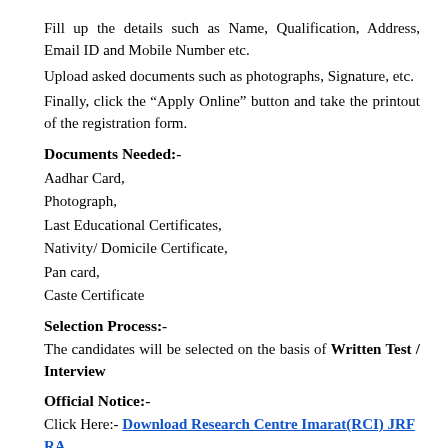Fill up the details such as Name, Qualification, Address, Email ID and Mobile Number etc.
Upload asked documents such as photographs, Signature, etc.
Finally, click the “Apply Online” button and take the printout of the registration form.
Documents Needed:-
Aadhar Card,
Photograph,
Last Educational Certificates,
Nativity/ Domicile Certificate,
Pan card,
Caste Certificate
Selection Process:-
The candidates will be selected on the basis of Written Test / Interview
Official Notice:-
Click Here:- Download Research Centre Imarat(RCI) JRF RA